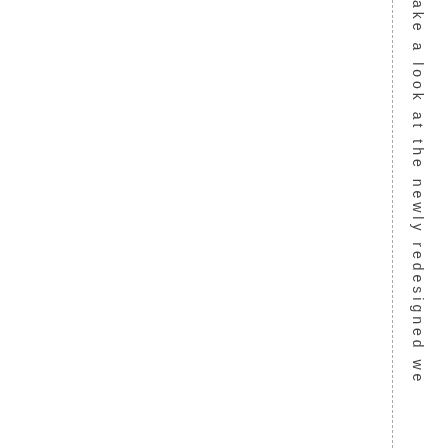ake a look at the newly redesigned we